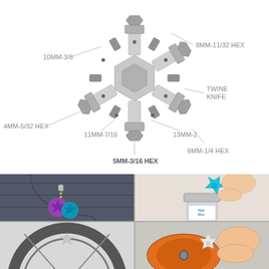[Figure (engineering-diagram): Snowflake-shaped multi-tool wrench with labeled hex sizes: 8MM-11/32 HEX, 10MM-3/8, TWINE KNIFE, 4MM-5/32 HEX, 11MM-7/16, 13MM-2, 6MM-1/4 HEX, 5MM-3/16 HEX]
[Figure (photo): Colorful snowflake multi-tools as keychains attached to jeans pocket]
[Figure (photo): Hand holding blue/teal snowflake multi-tool opening a High Blue bottle cap]
[Figure (photo): Close-up of silver snowflake multi-tool being used on a bicycle wheel]
[Figure (photo): Hand using snowflake multi-tool on orange bicycle component]